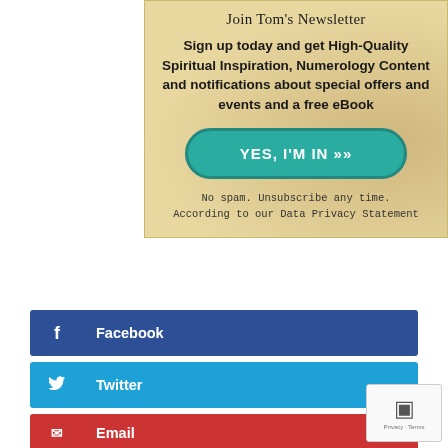Join Tom's Newsletter
Sign up today and get High-Quality Spiritual Inspiration, Numerology Content and notifications about special offers and events and a free eBook
YES, I'M IN »
No spam. Unsubscribe any time. According to our Data Privacy Statement
Facebook
Twitter
Email